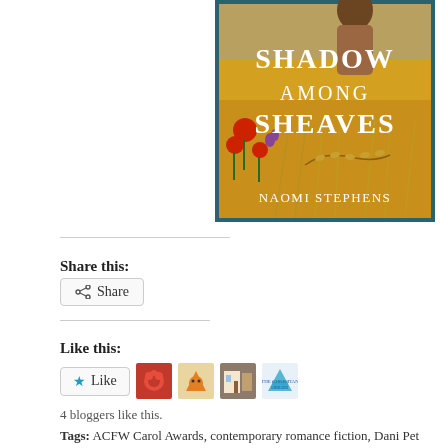[Figure (illustration): Book cover for 'Shadow Among Sheaves' by Naomi Stephens. Shows a woman in a field of golden wheat with red poppies. Text on cover: SHADOW AMONG SHEAVES, NAOMI STEPHENS. Teal/dark border.]
Share this:
Share (button)
Like this:
Like (button with 4 blogger avatars shown)
4 bloggers like this.
Tags: ACFW Carol Awards, contemporary romance fiction, Dani Pet